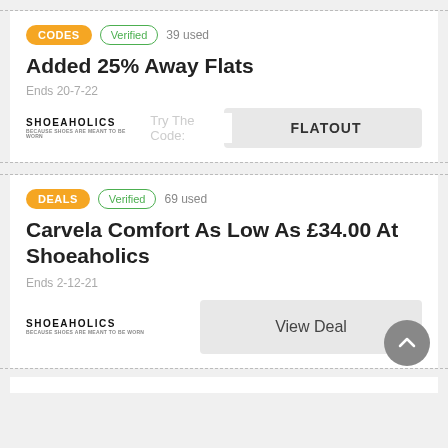CODES | Verified | 39 used | Added 25% Away Flats | Ends 20-7-22 | FLATOUT
DEALS | Verified | 69 used | Carvela Comfort As Low As £34.00 At Shoeaholics | Ends 2-12-21 | View Deal